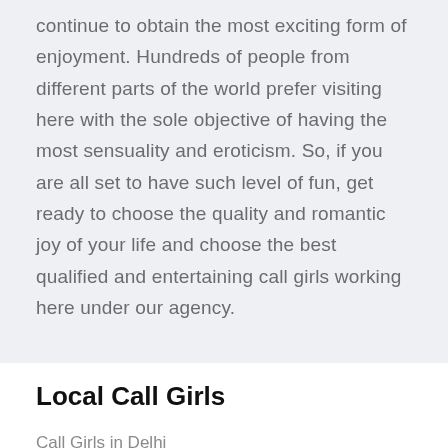continue to obtain the most exciting form of enjoyment. Hundreds of people from different parts of the world prefer visiting here with the sole objective of having the most sensuality and eroticism. So, if you are all set to have such level of fun, get ready to choose the quality and romantic joy of your life and choose the best qualified and entertaining call girls working here under our agency.
Local Call Girls
Call Girls in Delhi
Delhi Call Girls Whatsapp Number
Russian Call Girls in Delhi